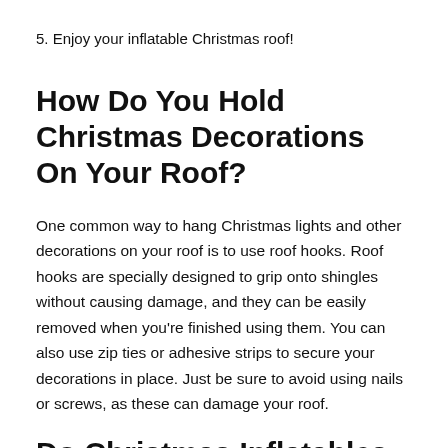5. Enjoy your inflatable Christmas roof!
How Do You Hold Christmas Decorations On Your Roof?
One common way to hang Christmas lights and other decorations on your roof is to use roof hooks. Roof hooks are specially designed to grip onto shingles without causing damage, and they can be easily removed when you're finished using them. You can also use zip ties or adhesive strips to secure your decorations in place. Just be sure to avoid using nails or screws, as these can damage your roof.
Do Christmas Inflatables Use A